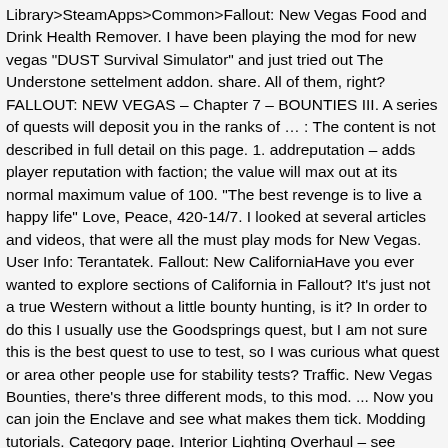Library>SteamApps>Common>Fallout: New Vegas Food and Drink Health Remover. I have been playing the mod for new vegas "DUST Survival Simulator" and just tried out The Understone settelment addon. share. All of them, right? FALLOUT: NEW VEGAS – Chapter 7 – BOUNTIES III. A series of quests will deposit you in the ranks of … : The content is not described in full detail on this page. 1. addreputation – adds player reputation with faction; the value will max out at its normal maximum value of 100. "The best revenge is to live a happy life" Love, Peace, 420-14/7. I looked at several articles and videos, that were all the must play mods for New Vegas. User Info: Terantatek. Fallout: New CaliforniaHave you ever wanted to explore sections of California in Fallout? It's just not a true Western without a little bounty hunting, is it? In order to do this I usually use the Goodsprings quest, but I am not sure this is the best quest to use to test, so I was curious what quest or area other people use for stability tests? Traffic. New Vegas Bounties, there's three different mods, to this mod. ... Now you can join the Enclave and see what makes them tick. Modding tutorials. Category page. Interior Lighting Overhaul – see indoors in a new light. FALLOUT: NEW VEGAS (MOD) – The Better Angels. Best Fallout New Vegas Mod Stability Tests? I mostly saw Fallout 3 and 4 random events, terminals, side-quests, and … I Put a Sp You; For the Republic, Part 2; That Lucky Old Sun; You'll Know It When It Happens; There Stands the Grass; Hard Luck Blues; Dealing with Contreras; Ret t Sender Thi last one add li th bility d